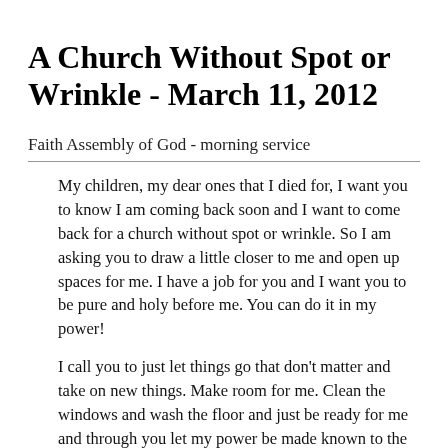A Church Without Spot or Wrinkle - March 11, 2012
Faith Assembly of God - morning service
My children, my dear ones that I died for, I want you to know I am coming back soon and I want to come back for a church without spot or wrinkle. So I am asking you to draw a little closer to me and open up spaces for me. I have a job for you and I want you to be pure and holy before me. You can do it in my power!
I call you to just let things go that don't matter and take on new things. Make room for me. Clean the windows and wash the floor and just be ready for me and through you let my power be made known to the world. I want a church without spot or wrinkle. I want a holy people and you can be in my holiness so just embrace my holiness. Move up a step. Let me come into your spirits and your hearts